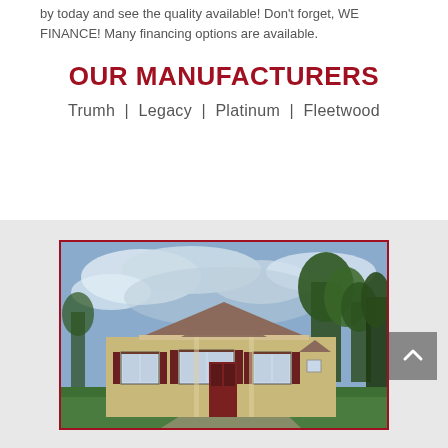by today and see the quality available! Don't forget, WE FINANCE! Many financing options are available.
OUR MANUFACTURERS
Trumh | Legacy | Platinum | Fleetwood
[Figure (photo): Exterior photo of a manufactured home with yellow/tan siding, dark red shutters, pitched roof, and trees in the background. Displayed inside a dark red border frame.]